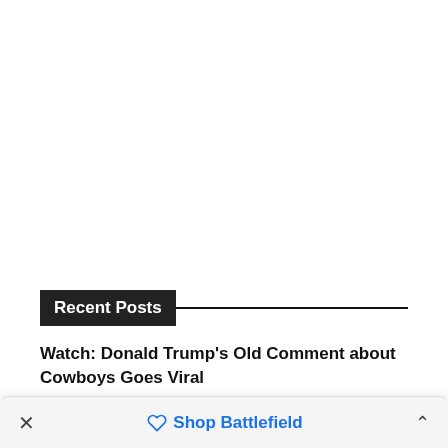Recent Posts
Watch: Donald Trump's Old Comment about Cowboys Goes Viral
Other Game of Thrones Characters Who Can Work in
× Shop Battlefield ^